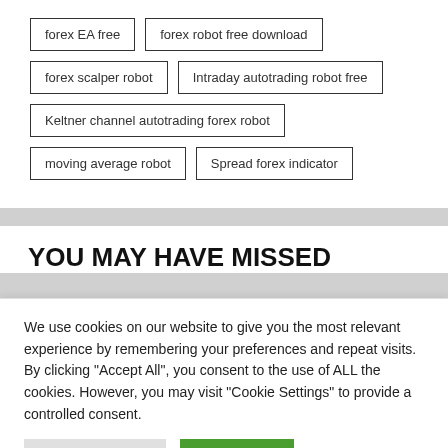forex EA free
forex robot free download
forex scalper robot
Intraday autotrading robot free
Keltner channel autotrading forex robot
moving average robot
Spread forex indicator
YOU MAY HAVE MISSED
We use cookies on our website to give you the most relevant experience by remembering your preferences and repeat visits. By clicking “Accept All”, you consent to the use of ALL the cookies. However, you may visit "Cookie Settings" to provide a controlled consent.
Cookie Settings  Accept All
English